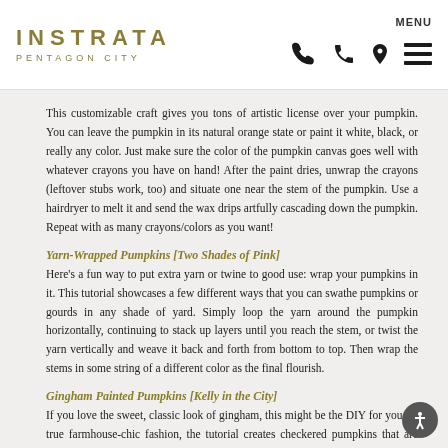[Figure (logo): INSTRATA PENTAGON CITY logo with phone, location pin, and menu icons]
This customizable craft gives you tons of artistic license over your pumpkin. You can leave the pumpkin in its natural orange state or paint it white, black, or really any color. Just make sure the color of the pumpkin canvas goes well with whatever crayons you have on hand! After the paint dries, unwrap the crayons (leftover stubs work, too) and situate one near the stem of the pumpkin. Use a hairdryer to melt it and send the wax drips artfully cascading down the pumpkin. Repeat with as many crayons/colors as you want!
Yarn-Wrapped Pumpkins [Two Shades of Pink]
Here's a fun way to put extra yarn or twine to good use: wrap your pumpkins in it. This tutorial showcases a few different ways that you can swathe pumpkins or gourds in any shade of yard. Simply loop the yarn around the pumpkin horizontally, continuing to stack up layers until you reach the stem, or twist the yarn vertically and weave it back and forth from bottom to top. Then wrap the stems in some string of a different color as the final flourish.
Gingham Painted Pumpkins [Kelly in the City]
If you love the sweet, classic look of gingham, this might be the DIY for you. In true farmhouse-chic fashion, the tutorial creates checkered pumpkins that are much more stylish than a jack-o'-lantern. Start by painting the entire pumpkin white. Once the white base dries, add vertical stripes in the hue of your choice. Choose a